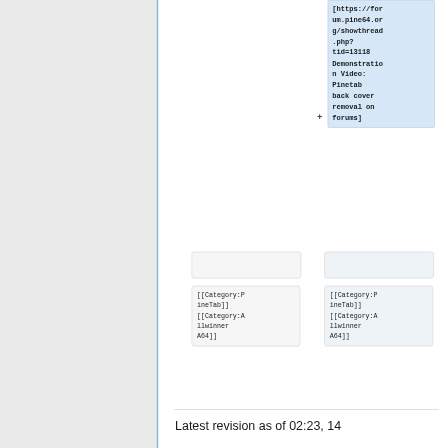[https://forum.pine64.org/showthread.php?tid=13118 Demonstration Video: Pinetab back cover removal on forums]
[[Category:PineTab]] [[Category:Allwinner A64]]
[[Category:PineTab]] [[Category:Allwinner A64]]
Latest revision as of 02:23, 14